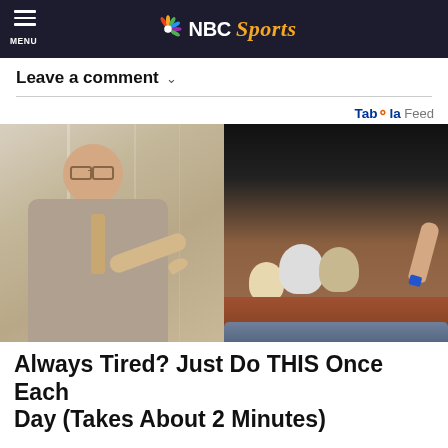NBC Sports
Leave a comment
Taboola Feed
[Figure (photo): Advertisement image split in two: left side shows an older man in a suit with glasses pointing at something, right side shows a close-up of dental model being touched by a hand]
Always Tired? Just Do THIS Once Each Day (Takes About 2 Minutes)